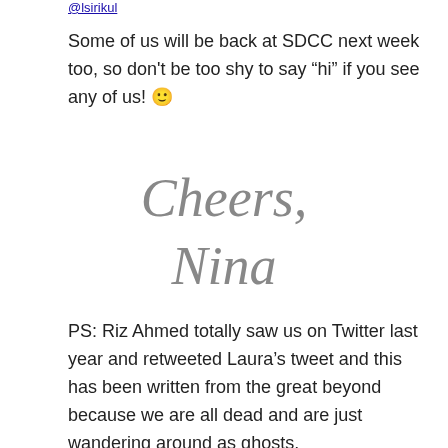Twitter: @lsirikul
Some of us will be back at SDCC next week too, so don't be too shy to say “hi” if you see any of us! 🙂
Cheers,
Nina
PS: Riz Ahmed totally saw us on Twitter last year and retweeted Laura's tweet and this has been written from the great beyond because we are all dead and are just wandering around as ghosts.
[Figure (screenshot): Embedded tweet by Riz Ahmed (@rizmc) dated 25 Jul 2017 with emojis 🙏✊✊❤️, retweeting Laura @lsirikul: 'Introducing the Bodhi Brigade at #SDCC in honor of @rizmc's Bodhi Rook! #justicefodbodhi #starwars']